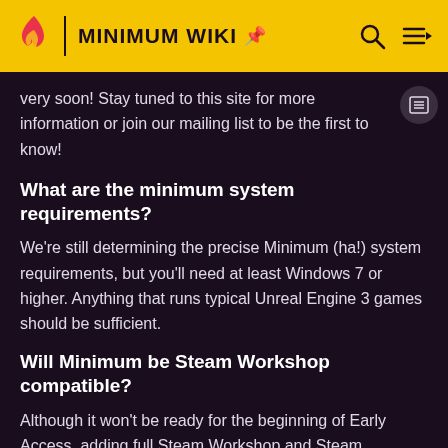MINIMUM WIKI
very soon! Stay tuned to this site for more information or join our mailing list to be the first to know!
What are the minimum system requirements?
We're still determining the precise Minimum (ha!) system requirements, but you'll need at least Windows 7 or higher. Anything that runs typical Unreal Engine 3 games should be sufficient.
Will Minimum be Steam Workshop compatible?
Although it won't be ready for the beginning of Early Access, adding full Steam Workshop and Steam Marketplace support to Minimum is one of our primary goals.